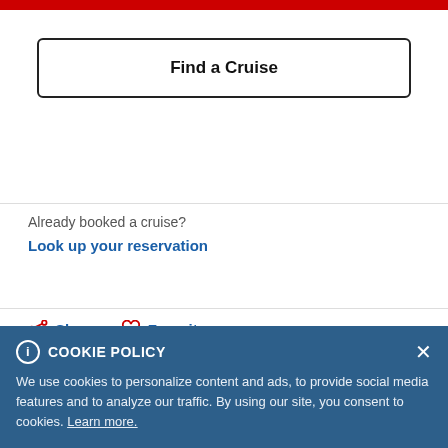[Figure (other): Red navigation bar at top of page]
Find a Cruise
Already booked a cruise?
Look up your reservation
Share  Favorite
DETAILS
Start your engine as you get behind the wheel of a dune
COOKIE POLICY
We use cookies to personalize content and ads, to provide social media features and to analyze our traffic. By using our site, you consent to cookies. Learn more.